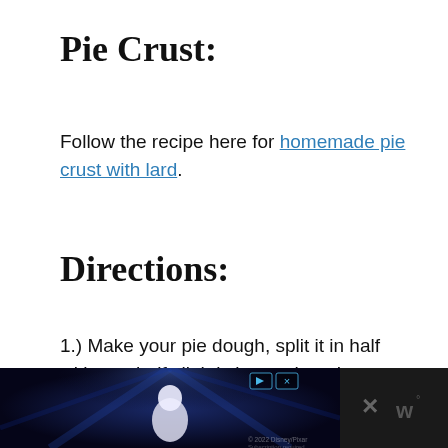Pie Crust:
Follow the recipe here for homemade pie crust with lard.
Directions:
1.) Make your pie dough, split it in half with one half slightly larger than the other, cover with plastic wrap, and chill in the fridge for 15 minutes.
[Figure (screenshot): Dark advertisement banner at the bottom of the page showing an animated movie character (Buzz Lightyear from Lightyear) with blue/purple space background, play and close buttons, copyright notice, and a close/mute area on the right.]